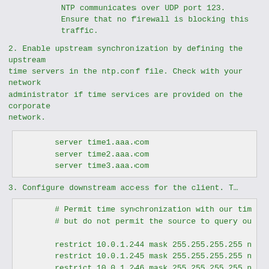NTP communicates over UDP port 123. Ensure that no firewall is blocking this traffic.
2. Enable upstream synchronization by defining the upstream time servers in the ntp.conf file. Check with your network administrator if time services are provided on the corporate network.
server time1.aaa.com
    server time2.aaa.com
    server time3.aaa.com
3. Configure downstream access for the client. T...
# Permit time synchronization with our tim
# but do not permit the source to query ou

restrict 10.0.1.244 mask 255.255.255.255 n
restrict 10.0.1.245 mask 255.255.255.255 n
restrict 10.0.1.246 mask 255.255.255.255 n
# note: 10.0.1.244 are time1/time2/time3.a
Replace ips/hosts with the network address of yo
Remove the # character at the start of the line
4. Start the NTP service and set it to launch automatically